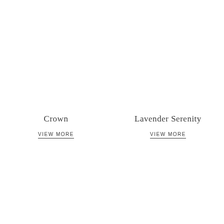Crown
VIEW MORE
Lavender Serenity
VIEW MORE